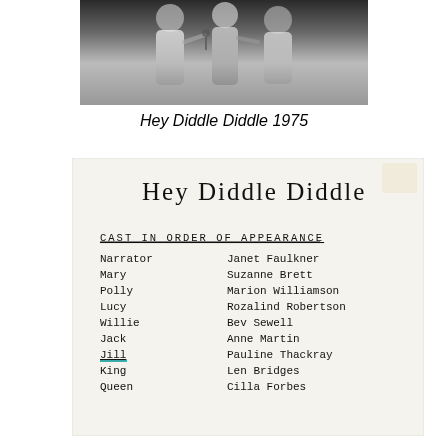[Figure (photo): Black and white photograph of performers on stage from Hey Diddle Diddle 1975]
Hey Diddle Diddle 1975
[Figure (photo): Scanned programme card for Hey Diddle Diddle with handwritten title and typewritten cast list in order of appearance]
CAST IN ORDER OF APPEARANCE
| Role | Actor |
| --- | --- |
| Narrator | Janet Faulkner |
| Mary | Suzanne Brett |
| Polly | Marion Williamson |
| Lucy | Rozalind Robertson |
| Willie | Bev Sewell |
| Jack | Anne Martin |
| Jill | Pauline Thackray |
| King | Len Bridges |
| Queen | Cilla Forbes |